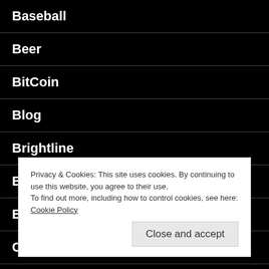Baseball
Beer
BitCoin
Blog
Brightline
Bus
Business
California
Canada
Privacy & Cookies: This site uses cookies. By continuing to use this website, you agree to their use.
To find out more, including how to control cookies, see here: Cookie Policy
Close and accept